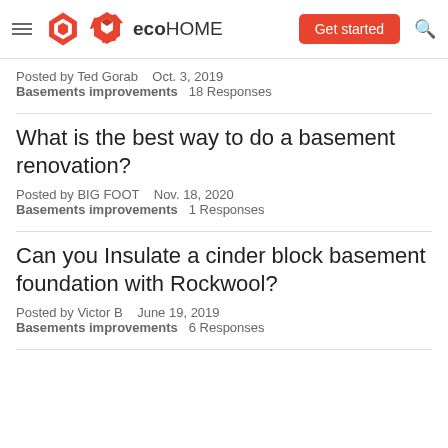eco HOME — Get started
Posted by Ted Gorab   Oct. 3, 2019
Basements improvements   18 Responses
What is the best way to do a basement renovation?
Posted by BIG FOOT   Nov. 18, 2020
Basements improvements   1 Responses
Can you Insulate a cinder block basement foundation with Rockwool?
Posted by Victor B   June 19, 2019
Basements improvements   6 Responses